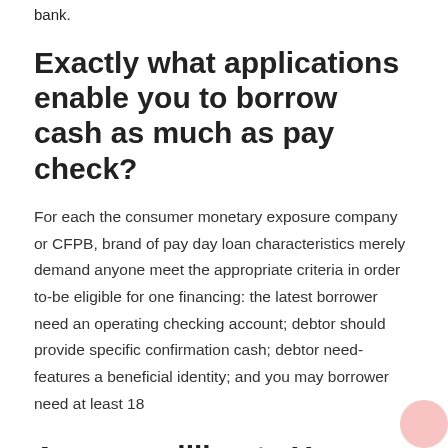bank.
Exactly what applications enable you to borrow cash as much as pay check?
For each the consumer monetary exposure company or CFPB, brand of pay day loan characteristics merely demand anyone meet the appropriate criteria in order to-be eligible for one financing: the latest borrower need an operating checking account; debtor should provide specific confirmation cash; debtor need-features a beneficial identity; and you may borrower need at least 18
Are you willing to You prefer Payday advance loan